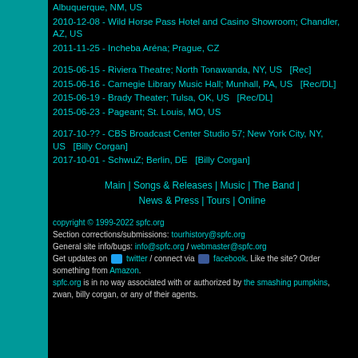Albuquerque, NM, US
2010-12-08 - Wild Horse Pass Hotel and Casino Showroom; Chandler, AZ, US
2011-11-25 - Incheba Aréna; Prague, CZ
2015-06-15 - Riviera Theatre; North Tonawanda, NY, US   [Rec]
2015-06-16 - Carnegie Library Music Hall; Munhall, PA, US   [Rec/DL]
2015-06-19 - Brady Theater; Tulsa, OK, US   [Rec/DL]
2015-06-23 - Pageant; St. Louis, MO, US
2017-10-?? - CBS Broadcast Center Studio 57; New York City, NY, US   [Billy Corgan]
2017-10-01 - SchwuZ; Berlin, DE   [Billy Corgan]
Main | Songs & Releases | Music | The Band | News & Press | Tours | Online
copyright © 1999-2022 spfc.org
Section corrections/submissions: tourhistory@spfc.org
General site info/bugs: info@spfc.org / webmaster@spfc.org
Get updates on twitter / connect via facebook. Like the site? Order something from Amazon.
spfc.org is in no way associated with or authorized by the smashing pumpkins, zwan, billy corgan, or any of their agents.